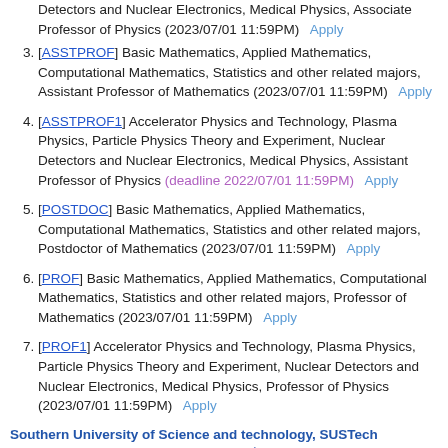Detectors and Nuclear Electronics, Medical Physics, Associate Professor of Physics (2023/07/01 11:59PM)   Apply
[ASSTPROF] Basic Mathematics, Applied Mathematics, Computational Mathematics, Statistics and other related majors, Assistant Professor of Mathematics (2023/07/01 11:59PM)   Apply
[ASSTPROF1] Accelerator Physics and Technology, Plasma Physics, Particle Physics Theory and Experiment, Nuclear Detectors and Nuclear Electronics, Medical Physics, Assistant Professor of Physics (deadline 2022/07/01 11:59PM)   Apply
[POSTDOC] Basic Mathematics, Applied Mathematics, Computational Mathematics, Statistics and other related majors, Postdoctor of Mathematics (2023/07/01 11:59PM)   Apply
[PROF] Basic Mathematics, Applied Mathematics, Computational Mathematics, Statistics and other related majors, Professor of Mathematics (2023/07/01 11:59PM)   Apply
[PROF1] Accelerator Physics and Technology, Plasma Physics, Particle Physics Theory and Experiment, Nuclear Detectors and Nuclear Electronics, Medical Physics, Professor of Physics (2023/07/01 11:59PM)   Apply
Southern University of Science and technology, SUSTech International Center for Mathematics ❊
[POSTDOCTORAL1] All areas of pure and applied mathematics and statistics, SUSTech-PD   Apply
[RESEARCHSERIES] All areas of pure and applied mathematics and statistics, Research Series   Apply